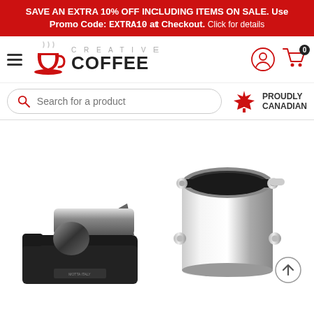SAVE AN EXTRA 10% OFF INCLUDING ITEMS ON SALE. Use Promo Code: EXTRA10 at Checkout. Click for details
[Figure (logo): Creative Coffee logo with red cup icon, 'CREATIVE COFFEE' text, hamburger menu, user icon, and cart icon with 0 badge]
[Figure (screenshot): Search bar with red magnifying glass icon and placeholder text 'Search for a product', alongside a red maple leaf and 'PROUDLY CANADIAN' text]
[Figure (photo): Two espresso accessories on white background: left - a black tamping station with stainless steel tamper by Motta Italy; right - a shiny stainless steel knock box with black bar]
[Figure (other): Scroll-to-top arrow button at bottom right]